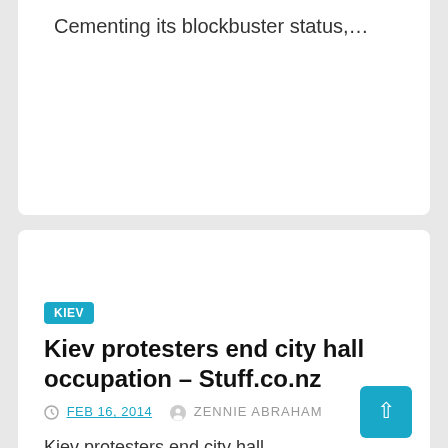Cementing its blockbuster status,…
KIEV
Kiev protesters end city hall occupation – Stuff.co.nz
FEB 16, 2014   ZENNIE ABRAHAM
Kiev protesters end city hall occupationStuff.co.nzUkrainian opposition protesters have ended a two-month occupation of city hall in Kiev and opened a road to limited traffic to meet an amnesty offer…